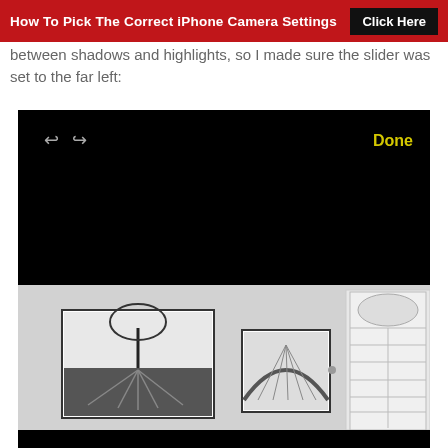How To Pick The Correct iPhone Camera Settings  Click Here
between shadows and highlights, so I made sure the slider was set to the far left:
[Figure (screenshot): iPhone photo editing UI showing a dark/black editing interface with undo/redo arrows and a Done button in yellow, with the bottom portion showing a room with black and white art prints on a gray wall next to a white door, and a black bar at the bottom.]